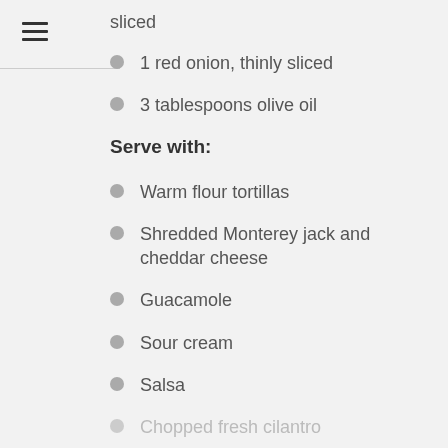sliced
1 red onion, thinly sliced
3 tablespoons olive oil
Serve with:
Warm flour tortillas
Shredded Monterey jack and cheddar cheese
Guacamole
Sour cream
Salsa
Chopped fresh cilantro
Lime wedges